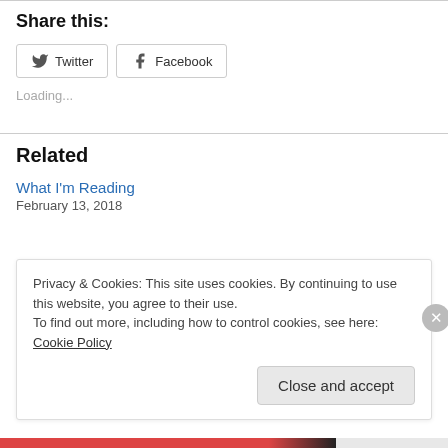Share this:
Twitter  Facebook
Loading...
Related
What I'm Reading
February 13, 2018
Privacy & Cookies: This site uses cookies. By continuing to use this website, you agree to their use.
To find out more, including how to control cookies, see here: Cookie Policy
Close and accept